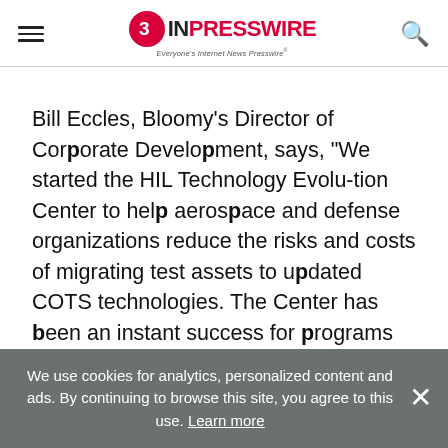EINPresswire — Everyone's Internet News Presswire
Bill Eccles, Bloomy's Director of Corporate Development, says, "We started the HIL Technology Evolu-tion Center to help aerospace and defense organizations reduce the risks and costs of migrating test assets to updated COTS technologies. The Center has been an instant success for programs undergo-ing a technology refresh, allowing test technology updates without suspending or risking operation of legacy test
We use cookies for analytics, personalized content and ads. By continuing to browse this site, you agree to this use. Learn more